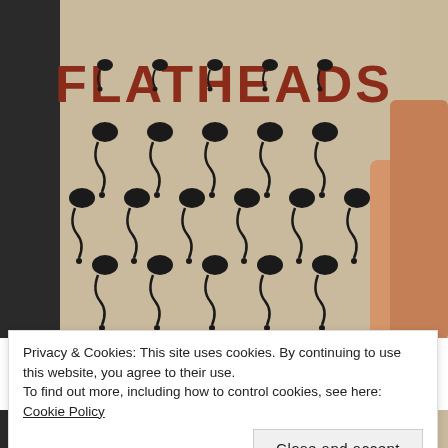[Figure (photo): A hand holding a book or zine cover titled 'FLATHEADS' in large red/brown letters on a beige background. The cover is covered in a repeating black pattern of stylized figure-8 or hourglass shapes with small circles. Partially visible text at bottom reads 'O'CONNOR ACT'.]
Privacy & Cookies: This site uses cookies. By continuing to use this website, you agree to their use.
To find out more, including how to control cookies, see here: Cookie Policy
Close and accept